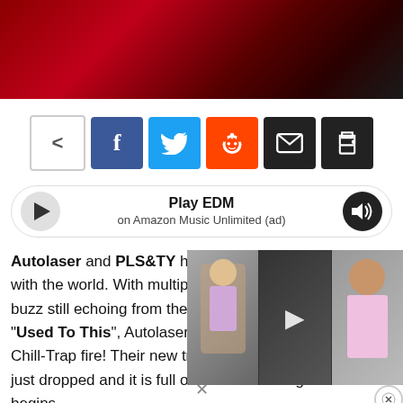[Figure (photo): Dark red gradient hero banner image at top of page]
[Figure (infographic): Social share buttons: generic share, Facebook, Twitter, Reddit, Email, Print]
[Figure (infographic): Amazon Music player bar with play button, 'Play EDM on Amazon Music Unlimited (ad)', volume and close buttons]
Autolaser and PLS&TY have so with the world. With multiple Hyp buzz still echoing from their last d "Used To This", Autolaser and P Chill-Trap fire! Their new track "H just dropped and it is full of flavor and swag. The track begins with soft vocals by Maro — a gradual build in a soulful love
[Figure (screenshot): Video overlay panel showing three thumbnail videos side by side with a play button]